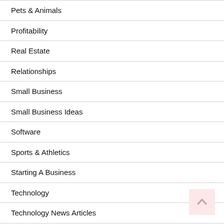Pets & Animals
Profitability
Real Estate
Relationships
Small Business
Small Business Ideas
Software
Sports & Athletics
Starting A Business
Technology
Technology News Articles
The Business
Travel